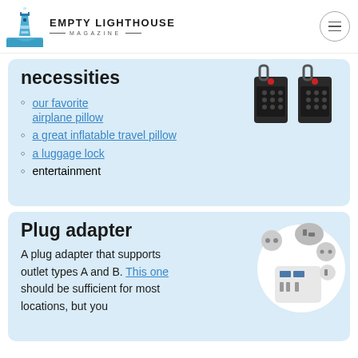EMPTY LIGHTHOUSE MAGAZINE
necessities
our favorite airplane pillow
a great inflatable travel pillow
a luggage lock
entertainment
[Figure (photo): Two black TSA luggage locks side by side]
Plug adapter
A plug adapter that supports outlet types A and B. This one should be sufficient for most locations, but you
[Figure (photo): White universal plug adapter with multiple international plugs and USB ports]